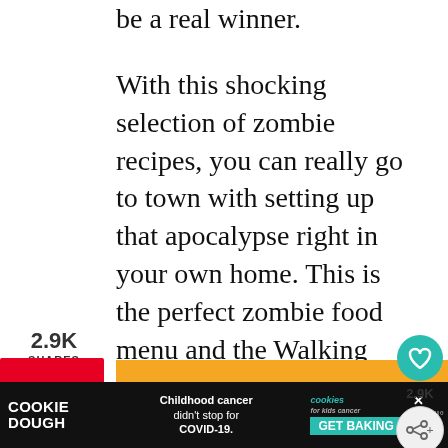be a real winner.
With this shocking selection of zombie recipes, you can really go to town with setting up that apocalypse right in your own home. This is the perfect zombie food menu and the Walking Dead party food.
2.9K SHARES
[Figure (infographic): Social share sidebar with Pinterest, Facebook, and Twitter buttons showing 2.9K shares]
[Figure (infographic): Orange promotional box with text: 6 ZOMBIE FOOD RECIPES TO SHOCK YOUR GUESTS]
[Figure (infographic): Right-side floating action buttons with heart icon showing 2.9K and share icon]
[Figure (screenshot): Advertisement banner at bottom: Cookie Dough - Childhood cancer didn't stop for COVID-19. Cookies for kids cancer - GET BAKING]